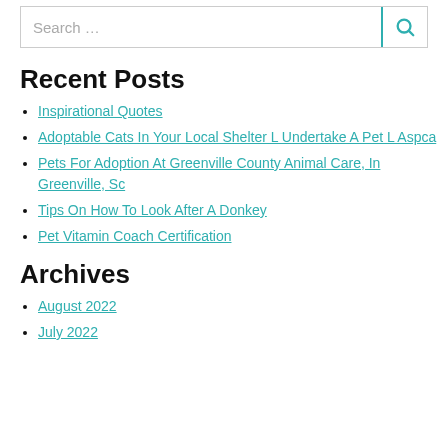Search …
Recent Posts
Inspirational Quotes
Adoptable Cats In Your Local Shelter L Undertake A Pet L Aspca
Pets For Adoption At Greenville County Animal Care, In Greenville, Sc
Tips On How To Look After A Donkey
Pet Vitamin Coach Certification
Archives
August 2022
July 2022